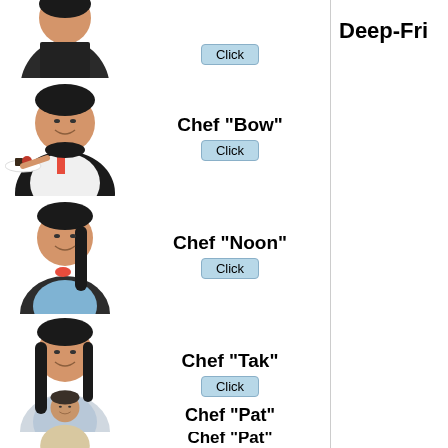[Figure (photo): Chef in dark apron with FoodInno logo, partially visible at top]
Click
[Figure (photo): Chef "Bow" - smiling woman in black apron holding a plate with desserts]
Chef "Bow"
Click
[Figure (photo): Chef "Noon" - smiling woman with dark ponytail in dark apron]
Chef "Noon"
Click
[Figure (photo): Chef "Tak" - smiling woman with long dark hair in light shirt]
Chef "Tak"
Click
[Figure (photo): Chef "Pat" - partially visible at bottom]
Chef "Pat"
Deep-Fri